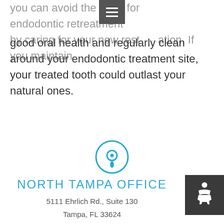you can avoid the need for endodontic retreatment by caring for your new restoration. If you maintain good oral health and regularly clean around your endodontic treatment site, your treated tooth could outlast your natural ones.
[Figure (illustration): Blue circular location pin icon inside a circle ring]
NORTH TAMPA OFFICE
5111 Ehrlich Rd., Suite 130
Tampa, FL 33624
P: (813) 964-8833